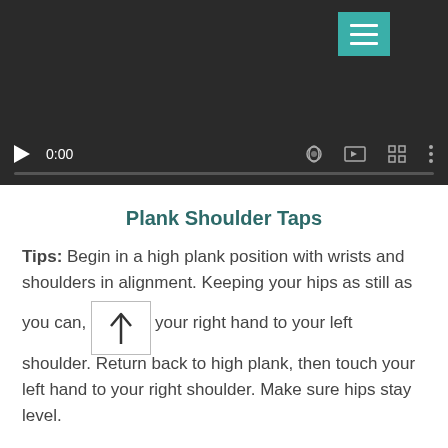[Figure (screenshot): Video player with dark background showing playback controls: play button, time 0:00, volume icon, fullscreen icon, more options icon, and a teal menu button in the top right corner]
Plank Shoulder Taps
Tips: Begin in a high plank position with wrists and shoulders in alignment. Keeping your hips as still as you can, touch your right hand to your left shoulder. Return back to high plank, then touch your left hand to your right shoulder. Make sure hips stay level.
Level: Intermediate